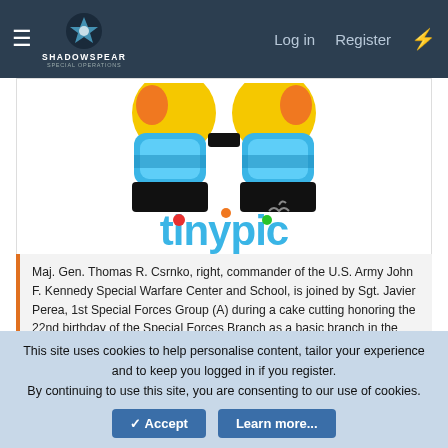ShadowSpear Special Operations — Log in | Register
[Figure (screenshot): Tinypic.com broken image placeholder showing colorful cartoon monkey face and tinypic logo, with message: This image is no longer available. Visit tinypic.com for more information.]
Maj. Gen. Thomas R. Csrnko, right, commander of the U.S. Army John F. Kennedy Special Warfare Center and School, is joined by Sgt. Javier Perea, 1st Special Forces Group (A) during a cake cutting honoring the 22nd birthday of the Special Forces Branch as a basic branch in the Army. Perea is the junior-most noncommissioned officer in the Special Forces Regiment, having recently graduated the
This site uses cookies to help personalise content, tailor your experience and to keep you logged in if you register.
By continuing to use this site, you are consenting to our use of cookies.